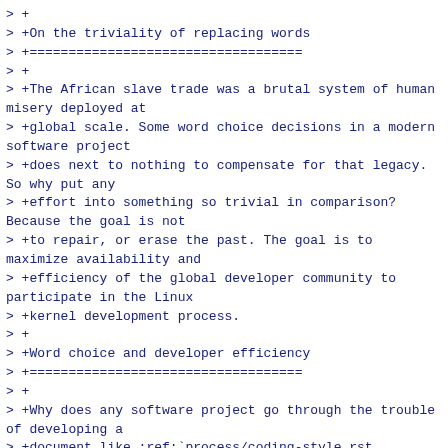> +
> +On the triviality of replacing words
> +===================================
> +
> +The African slave trade was a brutal system of human misery deployed at
> +global scale. Some word choice decisions in a modern software project
> +does next to nothing to compensate for that legacy. So why put any
> +effort into something so trivial in comparison? Because the goal is not
> +to repair, or erase the past. The goal is to maximize availability and
> +efficiency of the global developer community to participate in the Linux
> +kernel development process.
> +
> +Word choice and developer efficiency
> +===================================
> +
> +Why does any software project go through the trouble of developing a
> +document like :ref:`process/coding-style.rst <codingstyle>`? It does so
> +because a common coding style maximizes the efficiency of both
> +maintainers and developers. Developers learn common design patterns and
> +idiomatic expressions while maintainers can spot